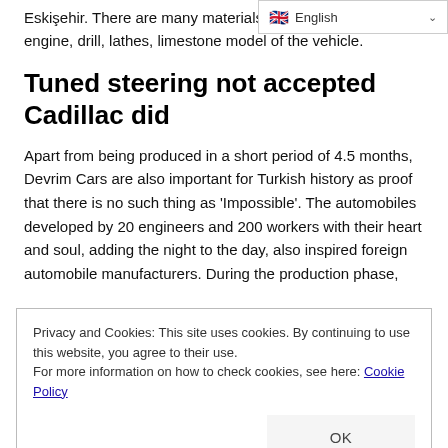Eskişehir. There are many materials such as welding engine, drill, lathes, limestone model of the vehicle.
[Figure (screenshot): Language selector dropdown showing English with UK flag]
Tuned steering not accepted Cadillac did
Apart from being produced in a short period of 4.5 months, Devrim Cars are also important for Turkish history as proof that there is no such thing as 'Impossible'. The automobiles developed by 20 engineers and 200 workers with their heart and soul, adding the night to the day, also inspired foreign automobile manufacturers. During the production phase,
Privacy and Cookies: This site uses cookies. By continuing to use this website, you agree to their use.
For more information on how to check cookies, see here: Cookie Policy
S